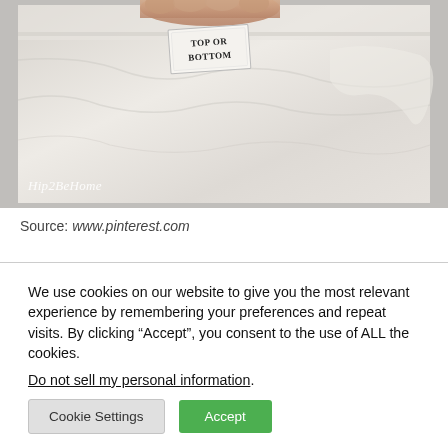[Figure (photo): A hand holding up a white garment (shorts or pants) showing a label tag that reads 'TOP OR BOTTOM'. The fabric is white. A watermark 'Hip2BeHome' appears in the lower left of the photo.]
Source: www.pinterest.com
We use cookies on our website to give you the most relevant experience by remembering your preferences and repeat visits. By clicking "Accept", you consent to the use of ALL the cookies. Do not sell my personal information.